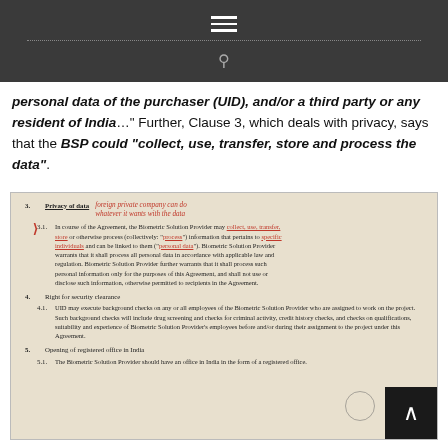[Figure (screenshot): Dark navigation bar with hamburger menu icon and dotted border, followed by a search icon]
personal data of the purchaser (UID), and/or a third party or any resident of India..." Further, Clause 3, which deals with privacy, says that the BSP could "collect, use, transfer, store and process the data".
[Figure (photo): Photo of a printed legal agreement document page showing sections on Privacy of data (3, 3.1), Right for security clearance (4, 4.1), and Opening of registered office in India (5, 5.1), with red handwritten annotations reading 'foreign private company can do whatever it wants with the data' next to the Privacy of data section, and red underlines on key phrases about processing personal information.]